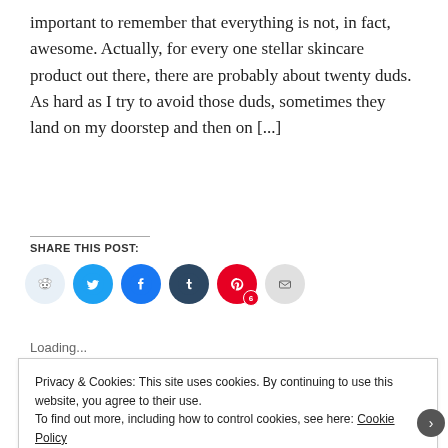important to remember that everything is not, in fact, awesome. Actually, for every one stellar skincare product out there, there are probably about twenty duds. As hard as I try to avoid those duds, sometimes they land on my doorstep and then on [...]
SHARE THIS POST:
[Figure (infographic): Row of social sharing buttons: Reddit (light blue circle), Twitter (blue circle with bird), Facebook (blue circle with f), Tumblr (dark blue circle with t), Pinterest (red circle with P and badge showing 6), Email (grey circle with envelope)]
Loading...
Privacy & Cookies: This site uses cookies. By continuing to use this website, you agree to their use.
To find out more, including how to control cookies, see here: Cookie Policy
Close and accept